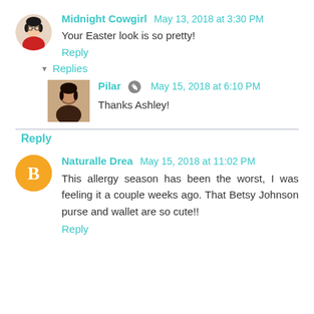Midnight Cowgirl May 13, 2018 at 3:30 PM
Your Easter look is so pretty!
Reply
Replies
Pilar May 15, 2018 at 6:10 PM
Thanks Ashley!
Reply
Naturalle Drea May 15, 2018 at 11:02 PM
This allergy season has been the worst, I was feeling it a couple weeks ago. That Betsy Johnson purse and wallet are so cute!!
Reply